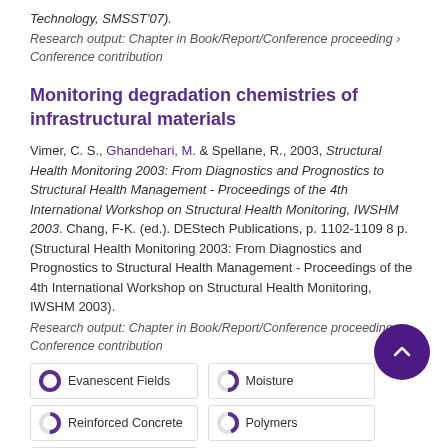Technology, SMSST'07).
Research output: Chapter in Book/Report/Conference proceeding › Conference contribution
Monitoring degradation chemistries of infrastructural materials
Vimer, C. S., Ghandehari, M. & Spellane, R., 2003, Structural Health Monitoring 2003: From Diagnostics and Prognostics to Structural Health Management - Proceedings of the 4th International Workshop on Structural Health Monitoring, IWSHM 2003. Chang, F-K. (ed.). DEStech Publications, p. 1102-1109 8 p. (Structural Health Monitoring 2003: From Diagnostics and Prognostics to Structural Health Management - Proceedings of the 4th International Workshop on Structural Health Monitoring, IWSHM 2003).
Research output: Chapter in Book/Report/Conference proceeding › Conference contribution
Evanescent Fields
Moisture
Reinforced Concrete
Polymers